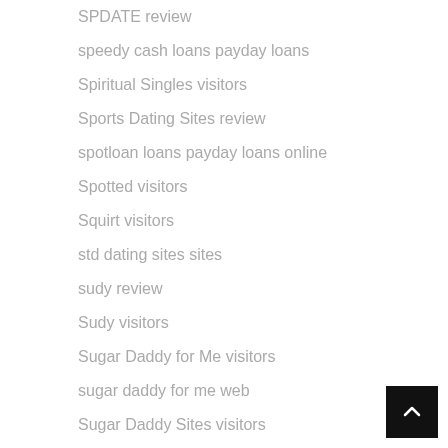SPDATE review
speedy cash loans payday loans
Spiritual Singles visitors
Sports Dating Sites review
spotloan loans payday loans online
Spotted visitors
Squirt visitors
std dating sites sites
sudy review
Sudy visitors
Sugar Daddy for Me visitors
sugar daddy for me web
Sugar Daddy Sites visitors